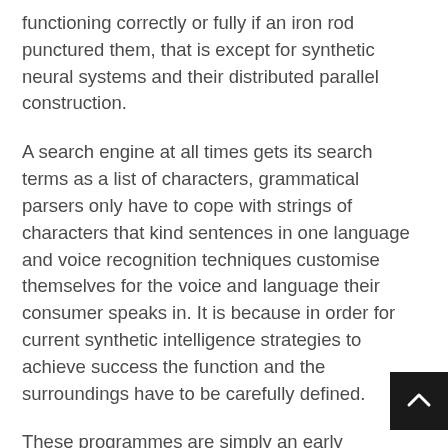functioning correctly or fully if an iron rod punctured them, that is except for synthetic neural systems and their distributed parallel construction.
A search engine at all times gets its search terms as a list of characters, grammatical parsers only have to cope with strings of characters that kind sentences in one language and voice recognition techniques customise themselves for the voice and language their consumer speaks in. It is because in order for current synthetic intelligence strategies to achieve success the function and the surroundings have to be carefully defined.
These programmes are simply an early evolutionary ancestor of the but to be realised fully purposeful artificial clever programs and have turn out to be